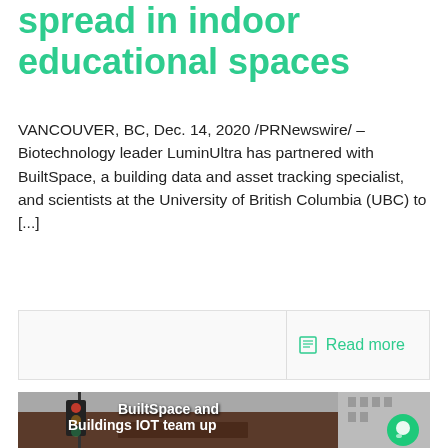spread in indoor educational spaces
VANCOUVER, BC, Dec. 14, 2020 /PRNewswire/ – Biotechnology leader LuminUltra has partnered with BuiltSpace, a building data and asset tracking specialist, and scientists at the University of British Columbia (UBC) to [...]
Read more
[Figure (photo): Street-level photo of a brick building with WeWork signage, traffic light in foreground, city buildings visible in background. Overlaid white bold text reads: BuiltSpace and Buildings IOT team up to help WeWork reduce the...]